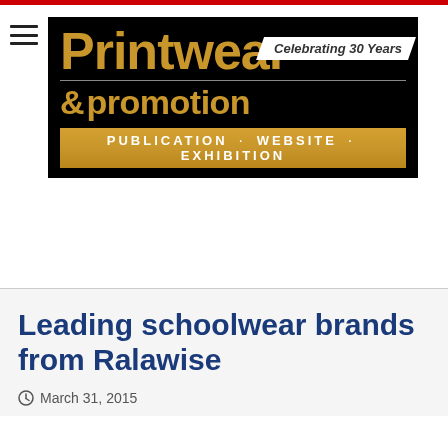[Figure (logo): Printwear & promotion logo on black background with gold text, 'Celebrating 30 Years' banner, and gold bar reading 'PUBLICATION · WEBSITE · EXHIBITION']
Leading schoolwear brands from Ralawise
March 31, 2015